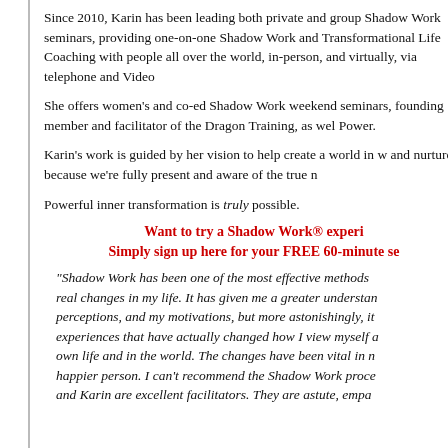Since 2010, Karin has been leading both private and group Shadow Work seminars, providing one-on-one Shadow Work and Transformational Life Coaching with people all over the world, in-person, and virtually, via telephone and Video Conferencing.
She offers women's and co-ed Shadow Work weekend seminars, and she's also a founding member and facilitator of the Dragon Training, as well as the Retreat for Personal Power.
Karin's work is guided by her vision to help create a world in which relationships are loved and nurtured because we're fully present and aware of the true nature of our shadows.
Powerful inner transformation is truly possible.
Want to try a Shadow Work® experience for yourself?
Simply sign up here for your FREE 60-minute session!
“Shadow Work has been one of the most effective methods I’ve ever used to make real changes in my life. It has given me a greater understanding of my thoughts, perceptions, and my motivations, but more astonishingly, it has given me healing experiences that have actually changed how I view myself and my relationships in my own life and in the world. The changes have been vital in my becoming a much happier person. I can’t recommend the Shadow Work process enough, and Karin are excellent facilitators. They are astute, empat